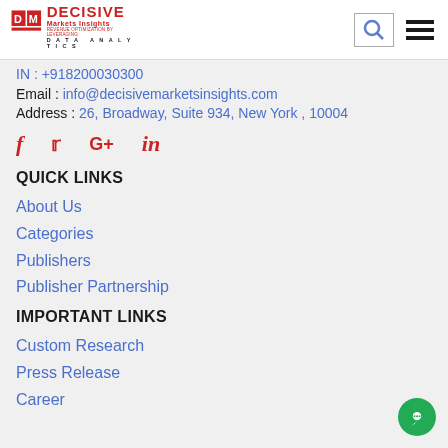Decisive Markets Insights - logo, search, menu
IN : +918200030300
Email : info@decisivemarketsinsights.com
Address : 26, Broadway, Suite 934, New York , 10004
[Figure (other): Social media icons: Facebook (f), Twitter, Google+, LinkedIn (in)]
QUICK LINKS
About Us
Categories
Publishers
Publisher Partnership
IMPORTANT LINKS
Custom Research
Press Release
Career